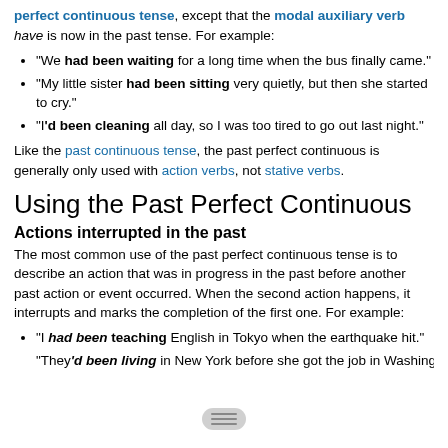perfect continuous tense, except that the modal auxiliary verb have is now in the past tense. For example:
"We had been waiting for a long time when the bus finally came."
"My little sister had been sitting very quietly, but then she started to cry."
"I'd been cleaning all day, so I was too tired to go out last night."
Like the past continuous tense, the past perfect continuous is generally only used with action verbs, not stative verbs.
Using the Past Perfect Continuous
Actions interrupted in the past
The most common use of the past perfect continuous tense is to describe an action that was in progress in the past before another past action or event occurred. When the second action happens, it interrupts and marks the completion of the first one. For example:
"I had been teaching English in Tokyo when the earthquake hit."
"They'd been living in New York before she got the job in Washington..."